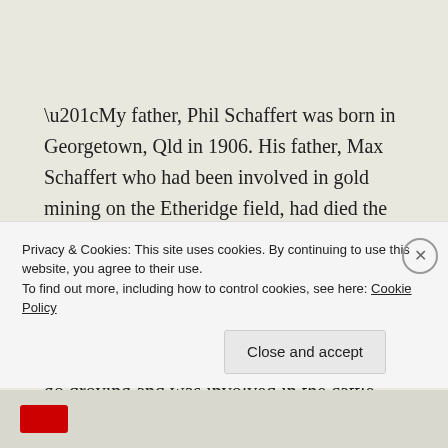“My father, Phil Schaffert was born in Georgetown, Qld in 1906. His father, Max Schaffert who had been involved in gold mining on the Etheridge field, had died the year after Phil was born so his mother had quite a task in raising five children on her own.
Phil left school at a very young age (12-13) to go droving and was involved in the cattle industry for the
Privacy & Cookies: This site uses cookies. By continuing to use this website, you agree to their use.
To find out more, including how to control cookies, see here: Cookie Policy

Close and accept